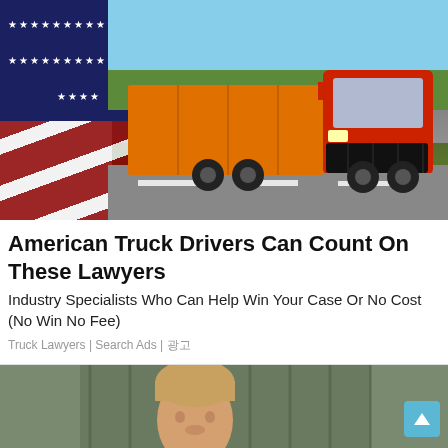[Figure (photo): Red semi-truck on highway with American flag overlay in foreground]
American Truck Drivers Can Count On These Lawyers
Industry Specialists Who Can Help Win Your Case Or No Cost (No Win No Fee)
Truck Lawyers | Search Ads | 광고
[Figure (photo): Partial photo of a person (man with blond hair) against a rustic background]